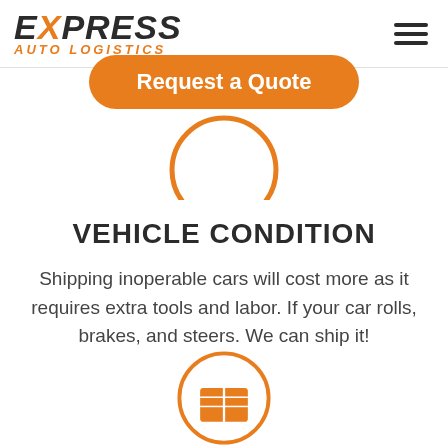[Figure (logo): Express Auto Logistics logo with bold italic text, X in orange, and 'AUTO LOGISTICS' subtitle in orange italic letters]
[Figure (other): Hamburger menu icon with three horizontal bars]
[Figure (other): Orange 'Request a Quote' rounded button]
[Figure (other): Bottom half of an orange circle arc/ring]
VEHICLE CONDITION
Shipping inoperable cars will cost more as it requires extra tools and labor. If your car rolls, brakes, and steers. We can ship it!
[Figure (other): Bottom partially visible orange circle icon with a book/map symbol inside]